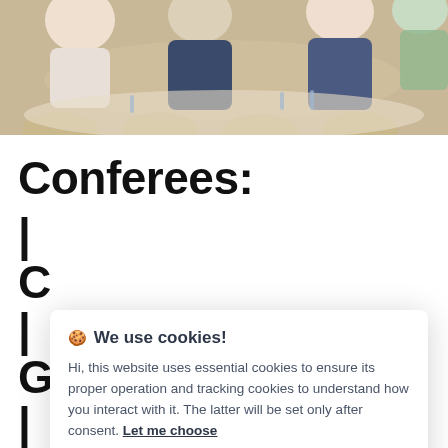[Figure (photo): Conference room photo showing attendees seated at round tables from behind, taken from an elevated angle. People are dressed formally in a banquet/conference setting.]
Conferees:
[Figure (screenshot): Cookie consent modal dialog with title '🍪 We use cookies!', body text explaining essential and tracking cookies, a 'Let me choose' link, an 'Accept all' green button, and a 'Reject all' gray button.]